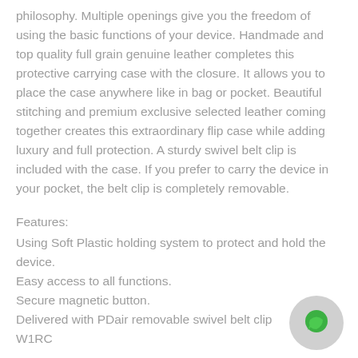philosophy. Multiple openings give you the freedom of using the basic functions of your device. Handmade and top quality full grain genuine leather completes this protective carrying case with the closure. It allows you to place the case anywhere like in bag or pocket. Beautiful stitching and premium exclusive selected leather coming together creates this extraordinary flip case while adding luxury and full protection. A sturdy swivel belt clip is included with the case. If you prefer to carry the device in your pocket, the belt clip is completely removable.
Features:
Using Soft Plastic holding system to protect and hold the device.
Easy access to all functions.
Secure magnetic button.
Delivered with PDair removable swivel belt clip
W1RC...
[Figure (illustration): Green chat bubble / messaging icon on a light grey circular background, positioned at bottom right of page.]